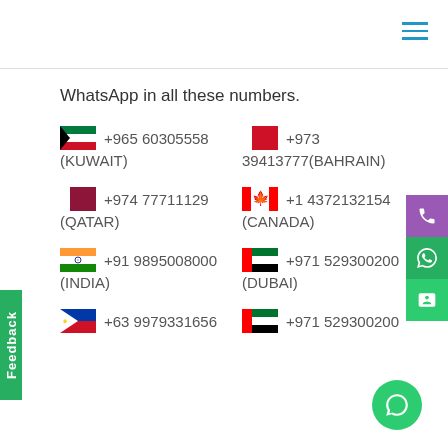WhatsApp in all these numbers.
+965 60305558 (KUWAIT)
+973 39413777 (BAHRAIN)
+974 77711129 (QATAR)
+1 4372132154 (CANADA)
+91 9895008000 (INDIA)
+971 529300200 (DUBAI)
+63 9979331656
+971 529300200